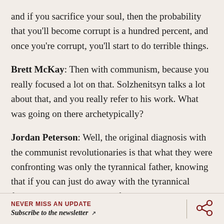and if you sacrifice your soul, then the probability that you'll become corrupt is a hundred percent, and once you're corrupt, you'll start to do terrible things.
Brett McKay: Then with communism, because you really focused a lot on that. Solzhenitsyn talks a lot about that, and you really refer to his work. What was going on there archetypically?
Jordan Peterson: Well, the original diagnosis with the communist revolutionaries is that what they were confronting was only the tyrannical father, knowing that if you can just do away with the tyrannical father, then people will all of a sudden be living in a harmonious utopia. It's to blame everything on the tyrannical father, which is exactly
NEVER MISS AN UPDATE Subscribe to the newsletter